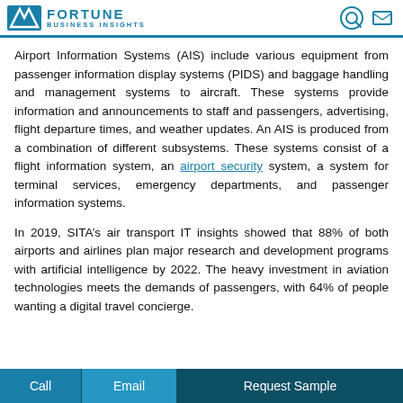FORTUNE BUSINESS INSIGHTS
Airport Information Systems (AIS) include various equipment from passenger information display systems (PIDS) and baggage handling and management systems to aircraft. These systems provide information and announcements to staff and passengers, advertising, flight departure times, and weather updates. An AIS is produced from a combination of different subsystems. These systems consist of a flight information system, an airport security system, a system for terminal services, emergency departments, and passenger information systems.
In 2019, SITA’s air transport IT insights showed that 88% of both airports and airlines plan major research and development programs with artificial intelligence by 2022. The heavy investment in aviation technologies meets the demands of passengers, with 64% of people wanting a digital travel concierge.
Call | Email | Request Sample